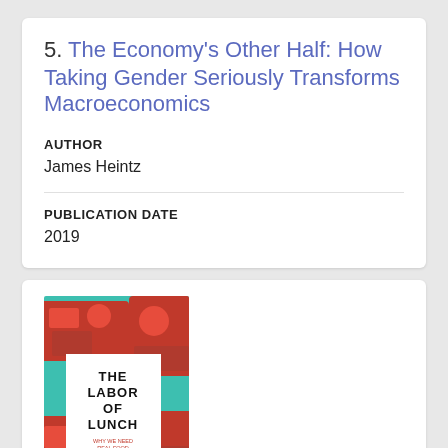5. The Economy's Other Half: How Taking Gender Seriously Transforms Macroeconomics
AUTHOR
James Heintz
PUBLICATION DATE
2019
[Figure (photo): Book cover of 'The Labor of Lunch: Why We Need Real Food and Real Jobs in American Public Schools' by Jennifer E. Gaddis. The cover shows a school lunch tray with food items on a red background.]